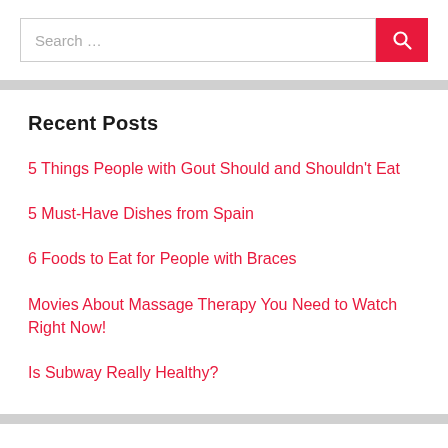[Figure (screenshot): Search input box with red search button]
Recent Posts
5 Things People with Gout Should and Shouldn't Eat
5 Must-Have Dishes from Spain
6 Foods to Eat for People with Braces
Movies About Massage Therapy You Need to Watch Right Now!
Is Subway Really Healthy?